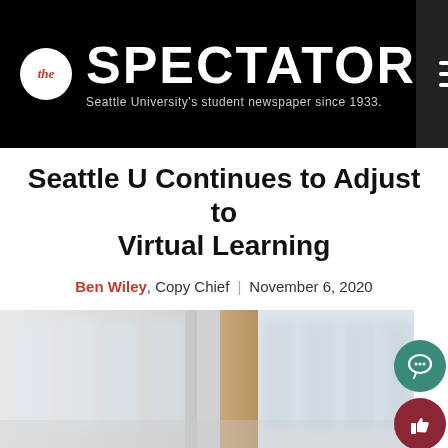The Spectator — Seattle University's student newspaper since 1933.
Seattle U Continues to Adjust to Virtual Learning
Ben Wiley, Copy Chief | November 6, 2020
[Figure (photo): Blurred interior photo showing windows and a golden vertical divider element, representing an empty campus building.]